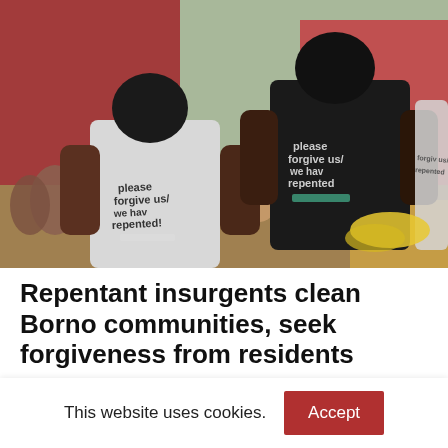[Figure (photo): Outdoor scene showing several people from behind wearing black and white t-shirts printed with 'please forgive us/ we have repented'. A crowd of people stands in the background near a red-brick building. There is produce (bananas) visible on the ground.]
Repentant insurgents clean Borno communities, seek forgiveness from residents
This website uses cookies.